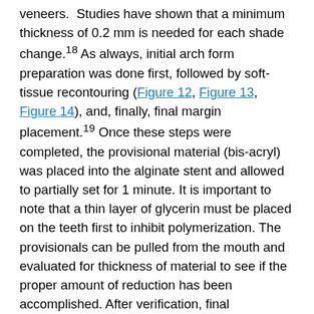veneers. Studies have shown that a minimum thickness of 0.2 mm is needed for each shade change.18 As always, initial arch form preparation was done first, followed by soft-tissue recontouring (Figure 12, Figure 13, Figure 14), and, finally, final margin placement.19 Once these steps were completed, the provisional material (bis-acryl) was placed into the alginate stent and allowed to partially set for 1 minute. It is important to note that a thin layer of glycerin must be placed on the teeth first to inhibit polymerization. The provisionals can be pulled from the mouth and evaluated for thickness of material to see if the proper amount of reduction has been accomplished. After verification, final impression, and an accurate bite registration, the preparation shade and facebow were taken. The provisionals were then trimmed and temporarily bonded in place using the “spot-etch technique” and flowable resin (Figure 15 and Figure 16).20
The patient is always brought back the following day to go